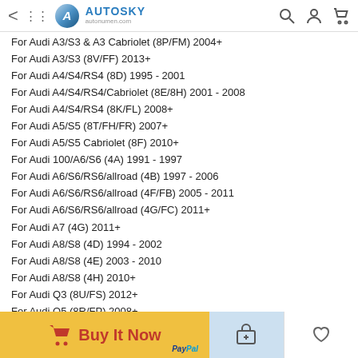AUTOSKY autonumen.com
For Audi A3/S3 & A3 Cabriolet (8P/FM) 2004+
For Audi A3/S3 (8V/FF) 2013+
For Audi A4/S4/RS4 (8D) 1995 - 2001
For Audi A4/S4/RS4/Cabriolet (8E/8H) 2001 - 2008
For Audi A4/S4/RS4 (8K/FL) 2008+
For Audi A5/S5 (8T/FH/FR) 2007+
For Audi A5/S5 Cabriolet (8F) 2010+
For Audi 100/A6/S6 (4A) 1991 - 1997
For Audi A6/S6/RS6/allroad (4B) 1997 - 2006
For Audi A6/S6/RS6/allroad (4F/FB) 2005 - 2011
For Audi A6/S6/RS6/allroad (4G/FC) 2011+
For Audi A7 (4G) 2011+
For Audi A8/S8 (4D) 1994 - 2002
For Audi A8/S8 (4E) 2003 - 2010
For Audi A8/S8 (4H) 2010+
For Audi Q3 (8U/FS) 2012+
For Audi Q5 (8R/FP) 2008+
For Audi Q7 (4L) 2006+
For Audi R8 (42) 2007+
For Audi TT (8N) 1999 - 2007
For Audi TT (8J) 2007+
For Audi Radio/Navigation System
Bentley Continental (3W) 2003+
For Skoda Fabia (6Y) 2000 - 2007
For Skoda Fabia (5J) 2007 - 2010